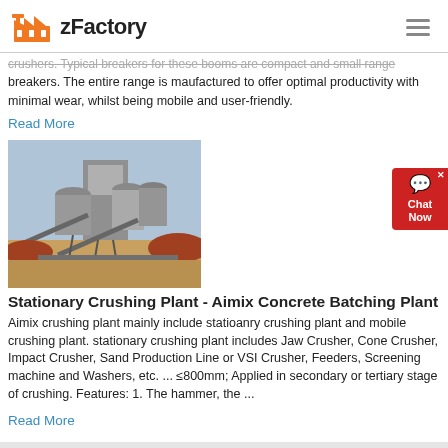zFactory
crushers. Typical breakers for these booms are compact and small range breakers. The entire range is maufactured to offer optimal productivity with minimal wear, whilst being mobile and user-friendly.
Read More
[Figure (photo): Industrial stationary crushing plant with large machinery, silos, and conveyor belts in a quarry setting]
Stationary Crushing Plant - Aimix Concrete Batching Plant
Aimix crushing plant mainly include statioanry crushing plant and mobile crushing plant. stationary crushing plant includes Jaw Crusher, Cone Crusher, Impact Crusher, Sand Production Line or VSI Crusher, Feeders, Screening machine and Washers, etc. ... ≤800mm; Applied in secondary or tertiary stage of crushing. Features: 1. The hammer, the ...
Read More